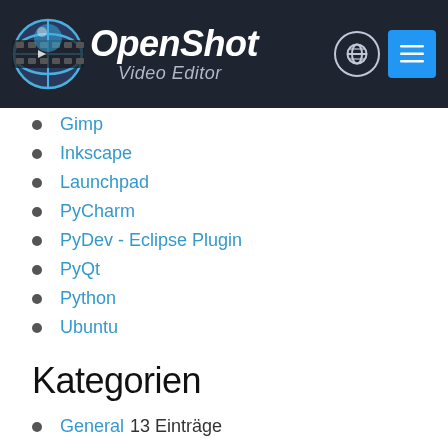[Figure (logo): OpenShot Video Editor logo with globe and film reel icon on dark header bar with globe button and hamburger menu button]
Gimp
Inkscape
Launchpad
PyCharm
PyDev - Eclipse Plugin
PyQt
Python
Ubuntu
Kategorien
General 13 Einträge
Releases 17 Einträge
Tutorials 1 Eintrag
Schlagwörter